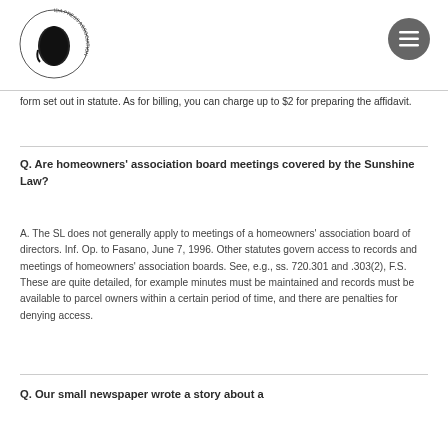Florida Press Association logo and navigation
form set out in statute. As for billing, you can charge up to $2 for preparing the affidavit.
Q. Are homeowners' association board meetings covered by the Sunshine Law?
A. The SL does not generally apply to meetings of a homeowners' association board of directors. Inf. Op. to Fasano, June 7, 1996. Other statutes govern access to records and meetings of homeowners' association boards. See, e.g., ss. 720.301 and .303(2), F.S. These are quite detailed, for example minutes must be maintained and records must be available to parcel owners within a certain period of time, and there are penalties for denying access.
Q. Our small newspaper wrote a story about a